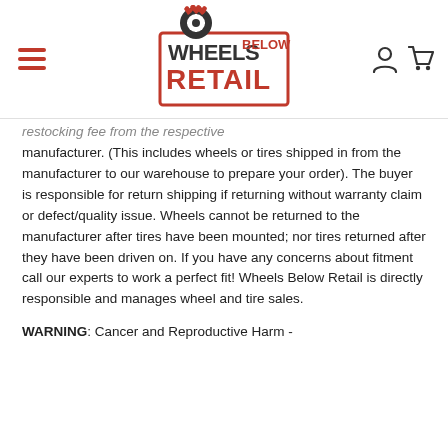Wheels Below Retail - navigation header with logo, hamburger menu, user and cart icons
restocking fee from the respective manufacturer. (This includes wheels or tires shipped in from the manufacturer to our warehouse to prepare your order). The buyer is responsible for return shipping if returning without warranty claim or defect/quality issue. Wheels cannot be returned to the manufacturer after tires have been mounted; nor tires returned after they have been driven on. If you have any concerns about fitment call our experts to work a perfect fit! Wheels Below Retail is directly responsible and manages wheel and tire sales.
WARNING: Cancer and Reproductive Harm -